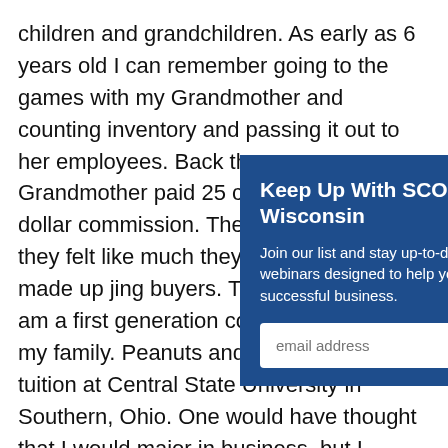children and grandchildren. As early as 6 years old I can remember going to the games with my Grandmother and counting inventory and passing it out to her employees. Back then my Grandmother paid 25 cents out of the dollar commission. The look on the faces they felt like much they m perfected th made up jing buyers. They themselves w am a first generation college student in my family. Peanuts and pennants paid my tuition at Central State University in Southern, Ohio. One would have thought that I would major in business, but I became
Keep Up With SCORE Central Wisconsin
Join our list and stay up-to-date with our webinars designed to help you start and grow a successful business.